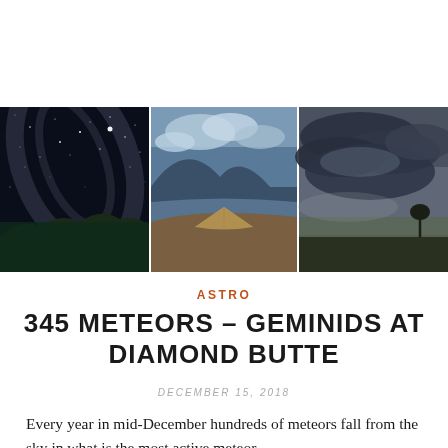[Figure (photo): A triptych header image composed of three landscape/nature photos side by side: left panel shows the Milky Way over a rocky nighttime landscape; center panel shows a tent on a hillside with mountains and clouds; right panel shows a dramatic stormy sky with a lone tree.]
ASTRO
345 METEORS – GEMINIDS AT DIAMOND BUTTE
DECEMBER 15, 2018
Every year in mid-December hundreds of meteors fall from the sky in what is the most active meteor